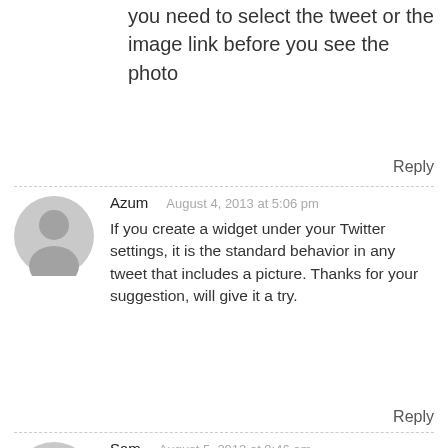you need to select the tweet or the image link before you see the photo
Reply
Azum   August 4, 2013 at 5:06 pm
If you create a widget under your Twitter settings, it is the standard behavior in any tweet that includes a picture. Thanks for your suggestion, will give it a try.
Reply
Sam   August 5, 2013 at 9:46 am
Hi Tom, Azum,
I'd also like to display the photo/images with each tweet in the feed, I've added the following var to the js file but I'm not sure about the output. Contact, I do